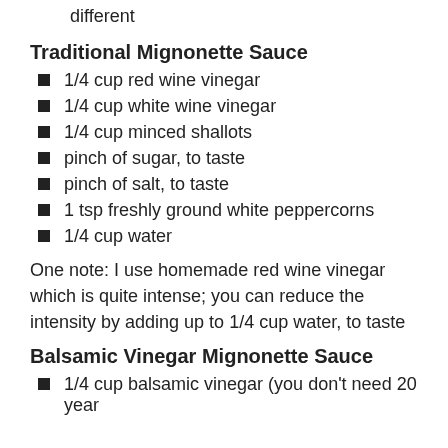different
Traditional Mignonette Sauce
1/4 cup red wine vinegar
1/4 cup white wine vinegar
1/4 cup minced shallots
pinch of sugar, to taste
pinch of salt, to taste
1 tsp freshly ground white peppercorns
1/4 cup water
One note: I use homemade red wine vinegar which is quite intense; you can reduce the intensity by adding up to 1/4 cup water, to taste
Balsamic Vinegar Mignonette Sauce
1/4 cup balsamic vinegar (you don't need 20 year